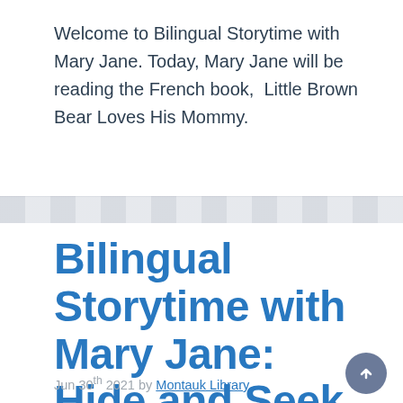Welcome to Bilingual Storytime with Mary Jane. Today, Mary Jane will be reading the French book,  Little Brown Bear Loves His Mommy.
Bilingual Storytime with Mary Jane: Hide and Seek Little Fox
Jun 30th 2021 by Montauk Library